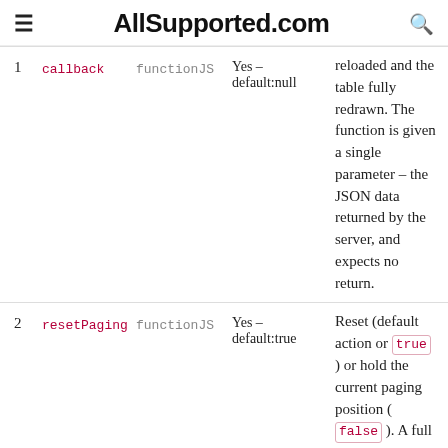AllSupported.com
| # | Name | Type | Optional | Description |
| --- | --- | --- | --- | --- |
| 1 | callback | functionJS | Yes – default:null | reloaded and the table fully redrawn. The function is given a single parameter – the JSON data returned by the server, and expects no return. |
| 2 | resetPaging | functionJS | Yes – default:true | Reset (default action or true) or hold the current paging position (false). A full re-sort and re-filter is performed when this method is called, which is why the pagination reset is the default action. |